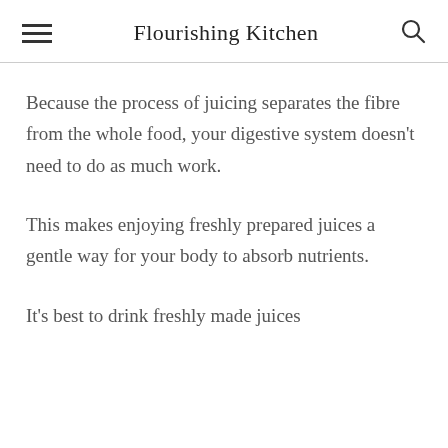Flourishing Kitchen
Because the process of juicing separates the fibre from the whole food, your digestive system doesn't need to do as much work.
This makes enjoying freshly prepared juices a gentle way for your body to absorb nutrients.
It's best to drink freshly made juices straight away to get the most out of the